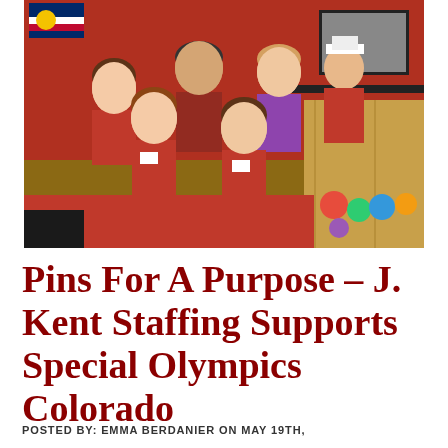[Figure (photo): Group photo of seven people at a bowling alley, most wearing red shirts and name tags. They are posing together smiling. The bowling alley has a red and black decor with bowling pins and bowling balls visible in the background.]
Pins For A Purpose – J. Kent Staffing Supports Special Olympics Colorado
POSTED BY: EMMA BERDANIER ON MAY 19TH,